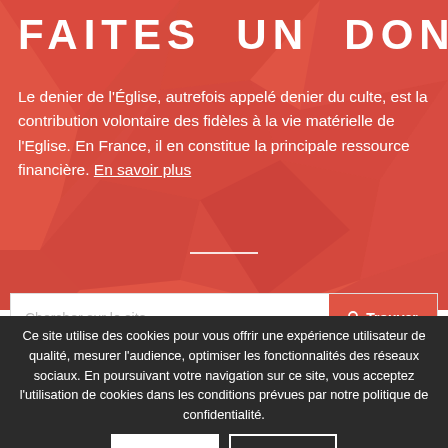FAITES UN DON
Le denier de l'Église, autrefois appelé denier du culte, est la contribution volontaire des fidèles à la vie matérielle de l'Eglise. En France, il en constitue la principale ressource financière. En savoir plus
Chercher sur le site
Trouver
Ce site utilise des cookies pour vous offrir une expérience utilisateur de qualité, mesurer l'audience, optimiser les fonctionnalités des réseaux sociaux. En poursuivant votre navigation sur ce site, vous acceptez l'utilisation de cookies dans les conditions prévues par notre politique de confidentialité.
Ok
+ d'infos